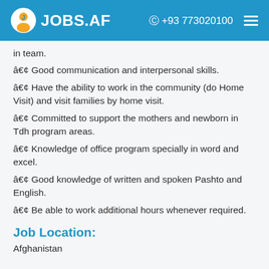JOBS.AF  +93 773020100
in team.
• Good communication and interpersonal skills.
• Have the ability to work in the community (do Home Visit) and visit families by home visit.
• Committed to support the mothers and newborn in Tdh program areas.
• Knowledge of office program specially in word and excel.
• Good knowledge of written and spoken Pashto and English.
• Be able to work additional hours whenever required.
Job Location:
Afghanistan